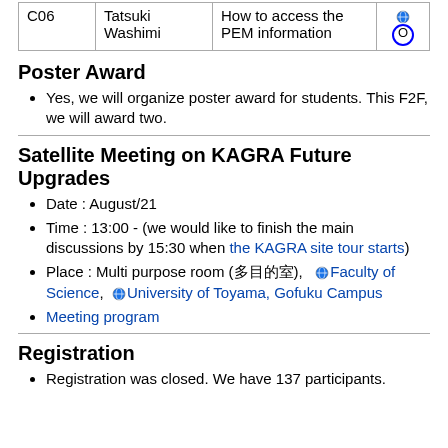|  |  |  |  |
| --- | --- | --- | --- |
| C06 | Tatsuki Washimi | How to access the PEM information | O |
Poster Award
Yes, we will organize poster award for students. This F2F, we will award two.
Satellite Meeting on KAGRA Future Upgrades
Date : August/21
Time : 13:00 - (we would like to finish the main discussions by 15:30 when the KAGRA site tour starts)
Place : Multi purpose room (多目的室), Faculty of Science, University of Toyama, Gofuku Campus
Meeting program
Registration
Registration was closed. We have 137 participants.